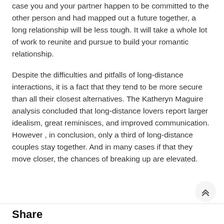case you and your partner happen to be committed to the other person and had mapped out a future together, a long relationship will be less tough. It will take a whole lot of work to reunite and pursue to build your romantic relationship.
Despite the difficulties and pitfalls of long-distance interactions, it is a fact that they tend to be more secure than all their closest alternatives. The Katheryn Maguire analysis concluded that long-distance lovers report larger idealism, great reminisces, and improved communication. However , in conclusion, only a third of long-distance couples stay together. And in many cases if that they move closer, the chances of breaking up are elevated.
Share